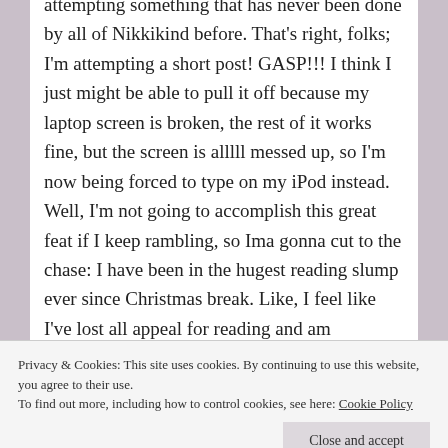attempting something that has never been done by all of Nikkikind before. That's right, folks; I'm attempting a short post! GASP!!! I think I just might be able to pull it off because my laptop screen is broken, the rest of it works fine, but the screen is alllll messed up, so I'm now being forced to type on my iPod instead. Well, I'm not going to accomplish this great feat if I keep rambling, so Ima gonna cut to the chase: I have been in the hugest reading slump ever since Christmas break. Like, I feel like I've lost all appeal for reading and am wondering what was so great about it in the first place. Horrible, I know. This is where you guys come in: Since I've lost all motivation to
Privacy & Cookies: This site uses cookies. By continuing to use this website, you agree to their use. To find out more, including how to control cookies, see here: Cookie Policy
practically hate me compared to all the love you shower